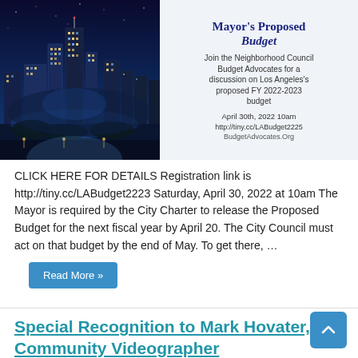[Figure (photo): Banner image with Los Angeles city skyline photo on the left and event details on the right: Mayor's Proposed Budget discussion announcement, BudgetAdvocates.Org]
CLICK HERE FOR DETAILS Registration link is http://tiny.cc/LABudget2223 Saturday, April 30, 2022 at 10am The Mayor is required by the City Charter to release the Proposed Budget for the next fiscal year by April 20. The City Council must act on that budget by the end of May. To get there, …
Read More »
Special Recognition to Mark Hovater, Community Videographer
April 12, 2022   Featured